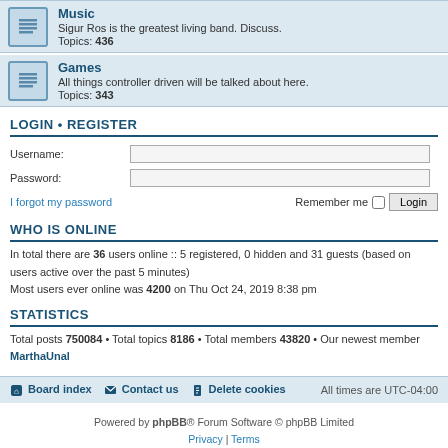Music — Sigur Ros is the greatest living band. Discuss. Topics: 436
Games — All things controller driven will be talked about here. Topics: 343
LOGIN • REGISTER
Username:
Password:
I forgot my password    Remember me  Login
WHO IS ONLINE
In total there are 36 users online :: 5 registered, 0 hidden and 31 guests (based on users active over the past 5 minutes)
Most users ever online was 4200 on Thu Oct 24, 2019 8:38 pm
STATISTICS
Total posts 750084 • Total topics 8186 • Total members 43820 • Our newest member MarthaUnal
Board index  Contact us  Delete cookies  All times are UTC-04:00
Powered by phpBB® Forum Software © phpBB Limited
Privacy | Terms